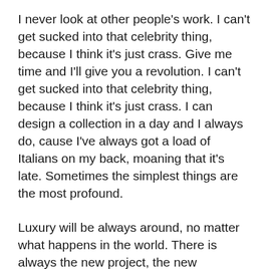I never look at other people's work. I can't get sucked into that celebrity thing, because I think it's just crass. Give me time and I'll give you a revolution. I can't get sucked into that celebrity thing, because I think it's just crass. I can design a collection in a day and I always do, cause I've always got a load of Italians on my back, moaning that it's late. Sometimes the simplest things are the most profound.
Luxury will be always around, no matter what happens in the world. There is always the new project, the new opportunity. Attention to detail is of utmost importance when you want to look good. I have a fantastic relationship with money. I use it to buy my freedom. I think the idea of mixing luxury and mass-market fashion is very modern, very now no one wears head-to-toe designer anymore. I think the idea of mixing luxury and